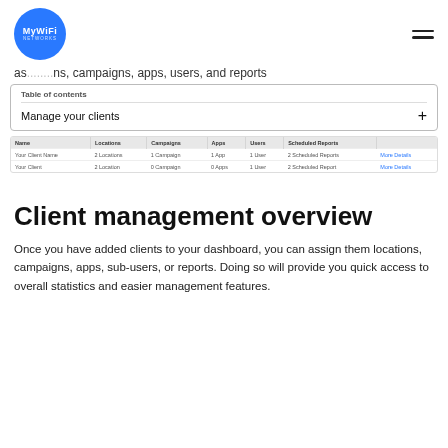[Figure (logo): MyWiFi Networks circular blue logo]
as... locations, campaigns, apps, users, and reports
Table of contents
Manage your clients +
| Name | Locations | Campaigns | Apps | Users | Scheduled Reports |  |
| --- | --- | --- | --- | --- | --- | --- |
| Your Client Name | 2 Locations | 1 Campaign | 1 App | 1 User | 2 Scheduled Reports | More Details |
| Your Client | 2 Location | 0 Campaign | 0 Apps | 1 User | 2 Scheduled Report | More Details |
Client management overview
Once you have added clients to your dashboard, you can assign them locations, campaigns, apps, sub-users, or reports. Doing so will provide you quick access to overall statistics and easier management features.